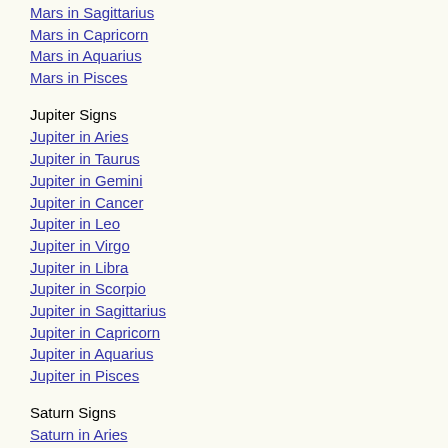Mars in Sagittarius
Mars in Capricorn
Mars in Aquarius
Mars in Pisces
Jupiter Signs
Jupiter in Aries
Jupiter in Taurus
Jupiter in Gemini
Jupiter in Cancer
Jupiter in Leo
Jupiter in Virgo
Jupiter in Libra
Jupiter in Scorpio
Jupiter in Sagittarius
Jupiter in Capricorn
Jupiter in Aquarius
Jupiter in Pisces
Saturn Signs
Saturn in Aries
Saturn in Taurus
Saturn in Gemini
Saturn in Cancer